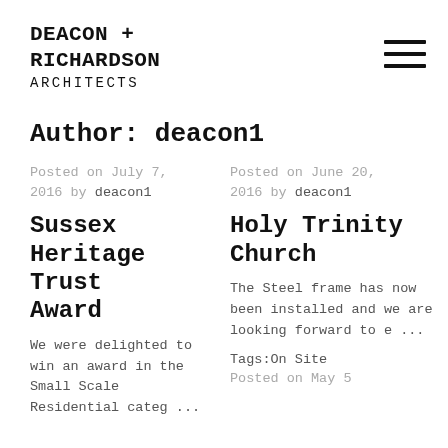DEACON + RICHARDSON ARCHITECTS
Author: deacon1
Posted on July 7, 2016 by deacon1
Posted on June 20, 2016 by deacon1
Sussex Heritage Trust Award
Holy Trinity Church
We were delighted to win an award in the Small Scale Residential categ ...
The Steel frame has now been installed and we are looking forward to e ...
Tags:On Site
Posted on May 5